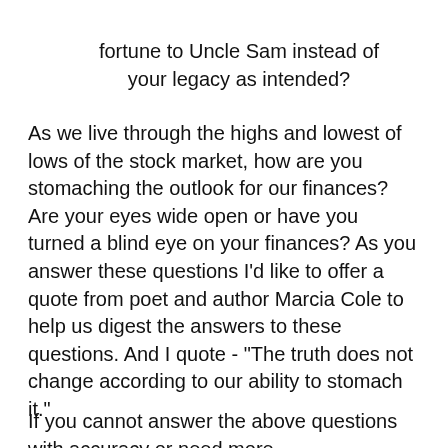fortune to Uncle Sam instead of your legacy as intended?
As we live through the highs and lowest of lows of the stock market, how are you stomaching the outlook for our finances?  Are your eyes wide open or have you turned a blind eye on your finances? As you answer these questions I'd like to offer a quote from poet and author Marcia Cole to help us digest the answers to these questions. And I quote - "The truth does not change according to our ability to stomach it."
If you cannot answer the above questions with accuracy or need more